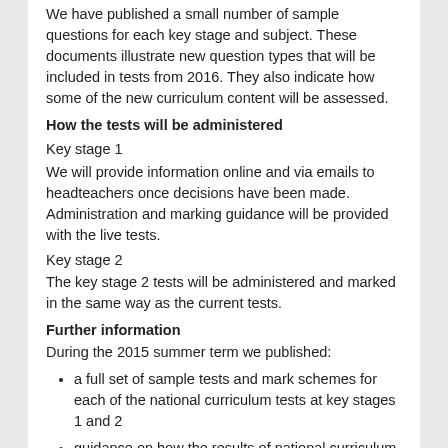We have published a small number of sample questions for each key stage and subject. These documents illustrate new question types that will be included in tests from 2016. They also indicate how some of the new curriculum content will be assessed.
How the tests will be administered
Key stage 1
We will provide information online and via emails to headteachers once decisions have been made. Administration and marking guidance will be provided with the live tests.
Key stage 2
The key stage 2 tests will be administered and marked in the same way as the current tests.
Further information
During the 2015 summer term we published:
a full set of sample tests and mark schemes for each of the national curriculum tests at key stages 1 and 2
guidance on how the results of national curriculum tests will be reported, including an explanation of scaled scores
final test frameworks
Standards and Testing Agency documentation on KS1 and KS2 SATs and the Phonics Screening Check can be found at this link: